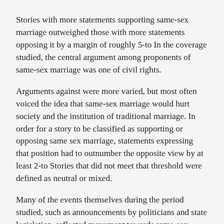Stories with more statements supporting same-sex marriage outweighed those with more statements opposing it by a margin of roughly 5-to In the coverage studied, the central argument among proponents of same-sex marriage was one of civil rights.
Arguments against were more varied, but most often voiced the idea that same-sex marriage would hurt society and the institution of traditional marriage. In order for a story to be classified as supporting or opposing same sex marriage, statements expressing that position had to outnumber the opposite view by at least 2-to Stories that did not meet that threshold were defined as neutral or mixed.
Many of the events themselves during the period studied, such as announcements by politicians and state legislation, reflected movement towards same-sex marriage. All three of the major cable networks, for instance, had more stories with significantly more supportive statements than An analysis of the conversation of momentum, including Fox News.